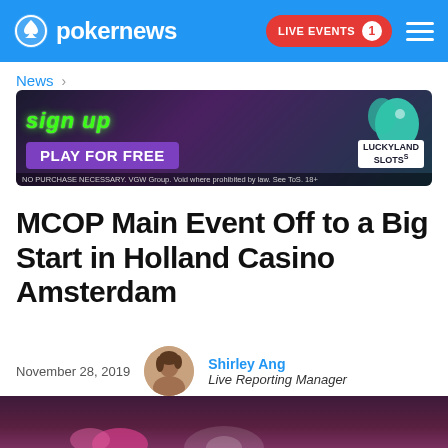pokernews — LIVE EVENTS 1
News >
[Figure (illustration): LuckyLand Slots advertisement banner: 'SIGN UP PLAY FOR FREE' with disclaimer text 'NO PURCHASE NECESSARY. VGW Group. Void where prohibited by law. See ToS. 18+']
MCOP Main Event Off to a Big Start in Holland Casino Amsterdam
November 28, 2019   Shirley Ang  Live Reporting Manager
[Figure (photo): Article hero image showing a poker-related scene with a blurred purple/maroon background, partially visible casino chips and hands.]